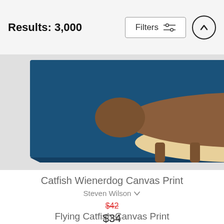Results: 3,000
Filters
[Figure (illustration): Canvas print of a dachshund dog styled as a hot dog with mustard on a dark blue background, shown as a wrapped canvas print with side depth visible.]
Catfish Wienerdog Canvas Print
Steven Wilson
$42
$34
Flying Catfish Canvas Print